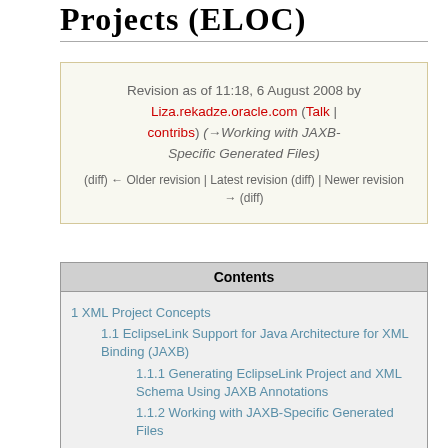Projects (ELOC)
Revision as of 11:18, 6 August 2008 by Liza.rekadze.oracle.com (Talk | contribs) (→Working with JAXB-Specific Generated Files)
(diff) ← Older revision | Latest revision (diff) | Newer revision → (diff)
| Contents |
| --- |
| 1 XML Project Concepts |
| 1.1 EclipseLink Support for Java Architecture for XML Binding (JAXB) |
| 1.1.1 Generating EclipseLink Project and XML Schema Using JAXB Annotations |
| 1.1.2 Working with JAXB-Specific Generated Files |